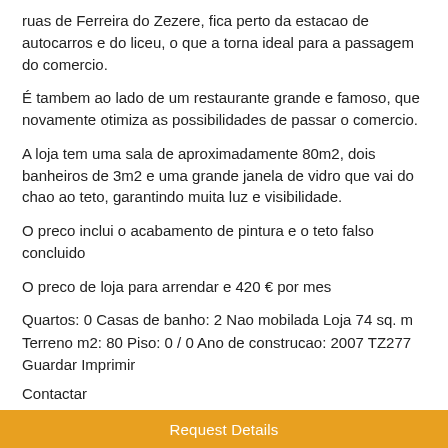ruas de Ferreira do Zezere, fica perto da estacao de autocarros e do liceu, o que a torna ideal para a passagem do comercio.
É tambem ao lado de um restaurante grande e famoso, que novamente otimiza as possibilidades de passar o comercio.
A loja tem uma sala de aproximadamente 80m2, dois banheiros de 3m2 e uma grande janela de vidro que vai do chao ao teto, garantindo muita luz e visibilidade.
O preco inclui o acabamento de pintura e o teto falso concluido
O preco de loja para arrendar e 420 € por mes
Quartos: 0 Casas de banho: 2 Nao mobilada Loja 74 sq. m Terreno m2: 80 Piso: 0 / 0 Ano de construcao: 2007 TZ277 Guardar Imprimir
Contactar
Request Details